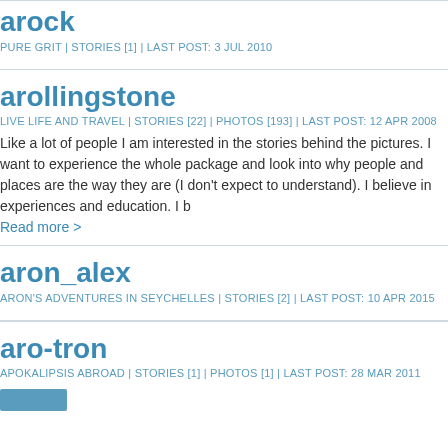arock
PURE GRIT | STORIES [1] | LAST POST: 3 JUL 2010
arollingstone
LIVE LIFE AND TRAVEL | STORIES [22] | PHOTOS [193] | LAST POST: 12 APR 2008
Like a lot of people I am interested in the stories behind the pictures. I want to experience the whole package and look into why people and places are the way they are (I don't expect to understand). I believe in experiences and education. I b...
Read more >
aron_alex
ARON'S ADVENTURES IN SEYCHELLES | STORIES [2] | LAST POST: 10 APR 2015
aro-tron
APOKALIPSIS ABROAD | STORIES [1] | PHOTOS [1] | LAST POST: 28 MAR 2011